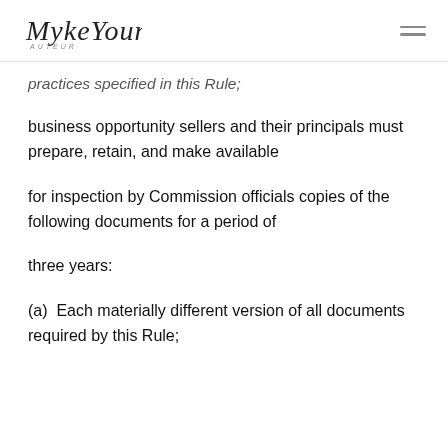MykeYoung [logo] [menu]
practices specified in this Rule;
business opportunity sellers and their principals must prepare, retain, and make available
for inspection by Commission officials copies of the following documents for a period of
three years:
(a)  Each materially different version of all documents required by this Rule;